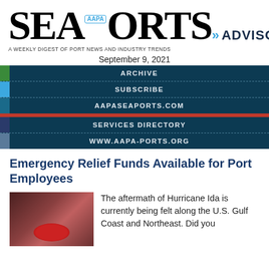SEAPORTS AAPA ADVISORY — A WEEKLY DIGEST OF PORT NEWS AND INDUSTRY TRENDS
September 9, 2021
ARCHIVE
SUBSCRIBE
AAPASEAPORTS.COM
SERVICES DIRECTORY
WWW.AAPA-PORTS.ORG
Emergency Relief Funds Available for Port Employees
[Figure (photo): Hands holding red flowers, symbolizing support and relief]
The aftermath of Hurricane Ida is currently being felt along the U.S. Gulf Coast and Northeast. Did you